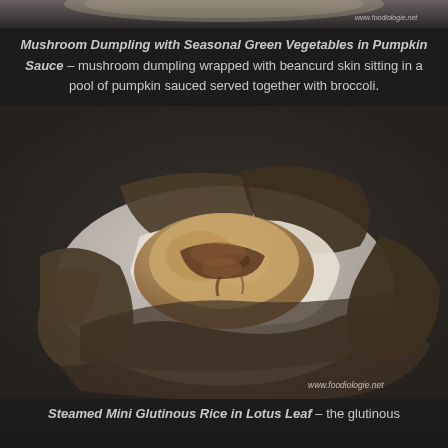[Figure (photo): Top portion of a food photo showing a dish with pumpkin sauce]
Mushroom Dumpling with Seasonal Green Vegetables in Pumpkin Sauce – mushroom dumpling wrapped with beancurd skin sitting in a pool of pumpkin sauced served together with broccoli.
[Figure (photo): Steamed glutinous rice wrapped in lotus leaf, unwrapped to show mushroom and rice filling inside, sitting on dark wooden surface. Watermark: www.foodiologie.net]
Steamed Mini Glutinous Rice in Lotus Leaf – the glutinous